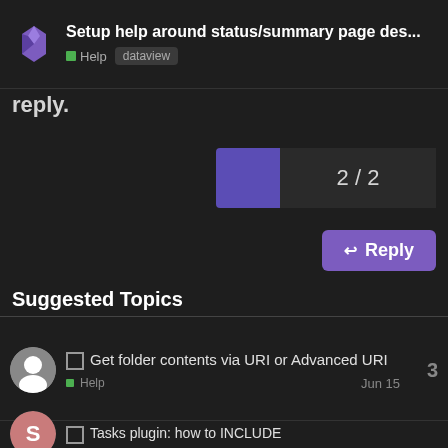Setup help around status/summary page des... Help dataview
reply.
2 / 2
Reply
Suggested Topics
Get folder contents via URI or Advanced URI — Help — Jun 15 — 3
Tasks plugin: how to INCLUDE or NOT INCLUDE any form of HH:mm (time) from task description? — Help — 1d — 13
How to sync Obsidian for free